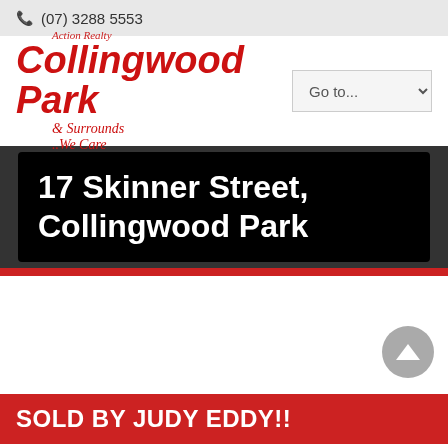(07) 3288 5553
[Figure (logo): Action Realty Collingwood Park & Surrounds ..We Care logo in red]
17 Skinner Street, Collingwood Park
SOLD BY JUDY EDDY!!